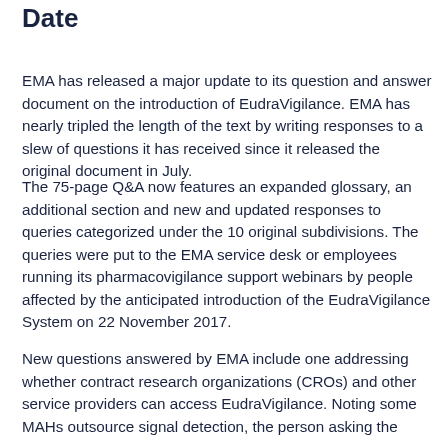Date
EMA has released a major update to its question and answer document on the introduction of EudraVigilance. EMA has nearly tripled the length of the text by writing responses to a slew of questions it has received since it released the original document in July.
The 75-page Q&A now features an expanded glossary, an additional section and new and updated responses to queries categorized under the 10 original subdivisions. The queries were put to the EMA service desk or employees running its pharmacovigilance support webinars by people affected by the anticipated introduction of the EudraVigilance System on 22 November 2017.
New questions answered by EMA include one addressing whether contract research organizations (CROs) and other service providers can access EudraVigilance. Noting some MAHs outsource signal detection, the person asking the